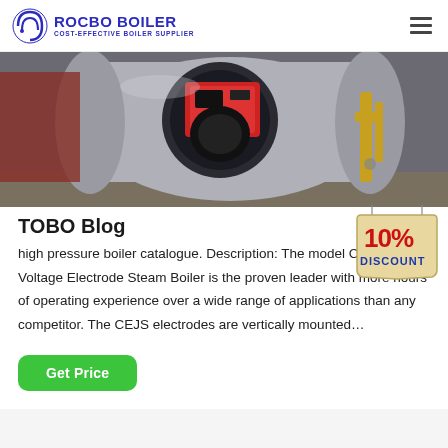ROCBO BOILER COST-EFFECTIVE BOILER SUPPLIER
[Figure (photo): Industrial boiler with red burner unit attached to a large cylindrical vessel, with yellow gas pipes visible on the right side, in an industrial setting.]
TOBO Blog
[Figure (illustration): 10% DISCOUNT badge/sticker graphic in red and blue text on a beige tag shape.]
high pressure boiler catalogue. Description: The model CEJS High Voltage Electrode Steam Boiler is the proven leader with more hours of operating experience over a wide range of applications than any competitor. The CEJS electrodes are vertically mounted…
Get Price